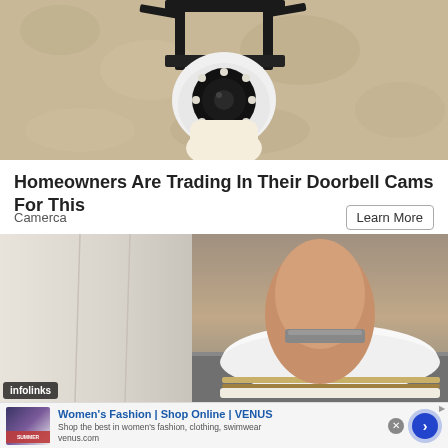[Figure (photo): Close-up photo of a security camera mounted on a textured beige/tan wall with a black mounting bracket]
Homeowners Are Trading In Their Doorbell Cams For This
Camerca
Learn More
[Figure (photo): Close-up photo of a person's ankle wearing a white perforated loafer/slip-on shoe with cork-style sole and gold trim, wearing white pants]
infolinks
[Figure (screenshot): Advertisement banner for Women's Fashion | Shop Online | VENUS showing a thumbnail of a fashion website with Summer Sale, with text: Shop the best in women's fashion, clothing, swimwear. venus.com]
Women's Fashion | Shop Online | VENUS
Shop the best in women's fashion, clothing, swimwear
venus.com